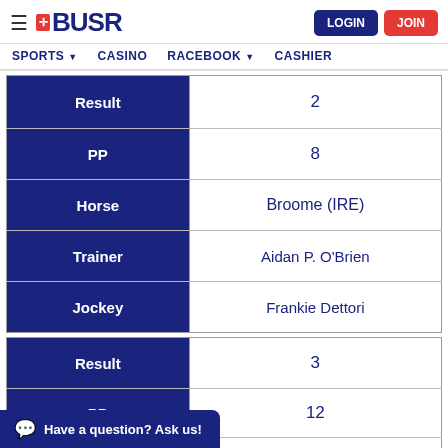BUSR - SPORTS, CASINO, RACEBOOK, CASHIER, LOGIN, JOIN
| Label | Value |
| --- | --- |
| Result | 2 |
| PP | 8 |
| Horse | Broome (IRE) |
| Trainer | Aidan P. O'Brien |
| Jockey | Frankie Dettori |
| Label | Value |
| --- | --- |
| Result | 3 |
| PP | 12 |
| Horse | Teona (IRE) |
| Trainer | R. Varian |
| Jockey | David Egan |